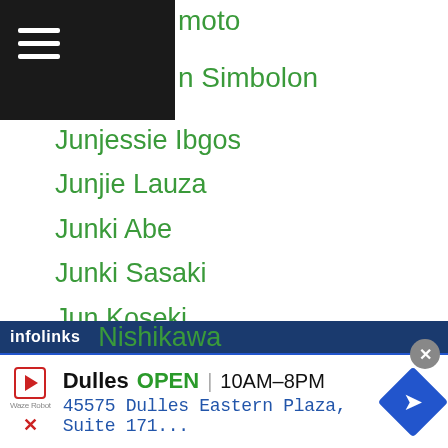moto | n Simbolon
Junjessie Ibgos
Junjie Lauza
Junki Abe
Junki Sasaki
Jun Koseki
Junny Salogaol
Junpei Hara
Junpei Omori
Junpei Sakagami
Jun Piacidad
Jun Takigawa
Jun Tamura
Junta Sekimoto
Nishikawa
[Figure (screenshot): infolinks ad bar with Dulles store advertisement: Dulles OPEN 10AM-8PM, 45575 Dulles Eastern Plaza, Suite 171...]